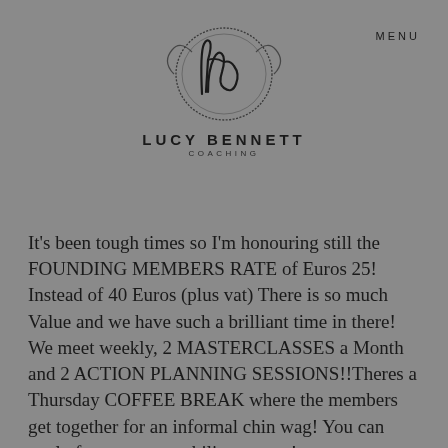[Figure (logo): Lucy Bennett Coaching circular logo with stylized 'lb' script inside a hand-drawn circle, with 'LUCY BENNETT' and 'COACHING' text below]
MENU
It's been tough times so I'm honouring still the FOUNDING MEMBERS RATE of Euros 25! Instead of 40 Euros (plus vat) There is so much Value and we have such a brilliant time in there! We meet weekly, 2 MASTERCLASSES a Month and 2 ACTION PLANNING SESSIONS!!Theres a Thursday COFFEE BREAK where the members get together for an informal chin wag! You can apply for an accountability partner!